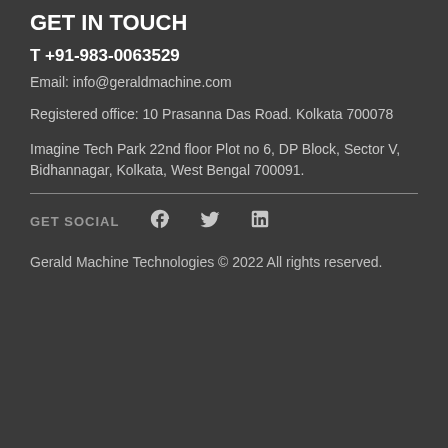GET IN TOUCH
T +91-983-0063529
Email: info@geraldmachine.com
Registered office: 10 Prasanna Das Road. Kolkata 700078
Imagine Tech Park 22nd floor Plot no 6, DP Block, Sector V, Bidhannagar, Kolkata, West Bengal 700091.
GET SOCIAL
[Figure (infographic): Social media icons: Facebook, Twitter, LinkedIn]
Gerald Machine Technologies © 2022 All rights reserved.